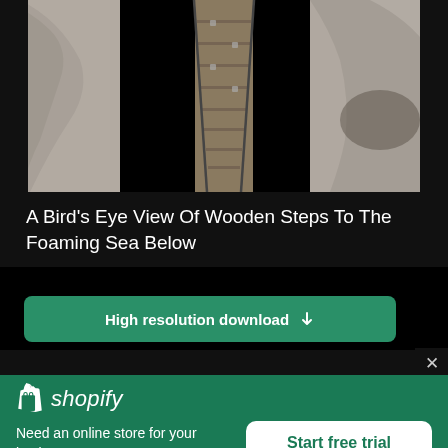[Figure (photo): Bird's eye view looking down at wooden steps with metal railings descending between rocky/sandy walls toward the sea]
A Bird's Eye View Of Wooden Steps To The Foaming Sea Below
High resolution download ↓
[Figure (logo): Shopify logo - shopping bag icon with 'shopify' wordmark in italic white text]
Need an online store for your business?
Start free trial